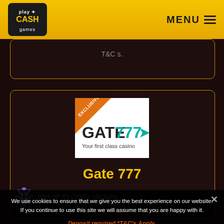play CASH games | MENU
T&C s.
[Figure (logo): Gate777 casino logo with 'EXCLUSIVE' ribbon banner in orange, white background, text 'GATE777' with arrow and 'Your first class casino']
Gate 777
100% UP TO £1500 + 150 Spins -
Deposit required *T&C's Apply.
BeGambleAware.org  New Players Only.
We use cookies to ensure that we give you the best experience on our website. If you continue to use this site we will assume that you are happy with it.
Ok   Privacy policy